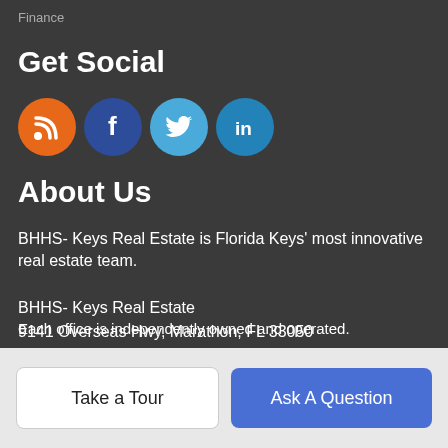Finance
Get Social
[Figure (illustration): Four social media icon circles: RSS (orange), Facebook (dark blue), Twitter (light blue), LinkedIn (teal blue)]
About Us
BHHS- Keys Real Estate is Florida Keys' most innovative real estate team.
BHHS- Keys Real Estate
9141 Overseas Hwy, Marathon, FL 33050
305-923-9976
Each office is independently owned and operated.
Take a Tour
Ask A Question